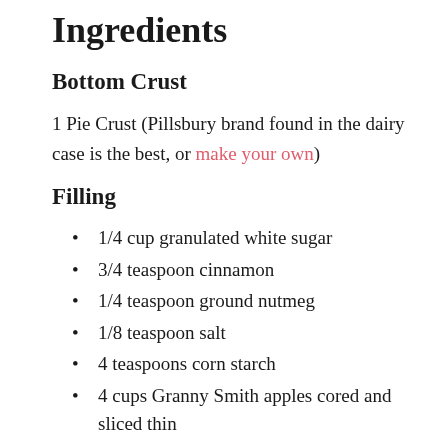Ingredients
Bottom Crust
1 Pie Crust (Pillsbury brand found in the dairy case is the best, or make your own)
Filling
1/4 cup granulated white sugar
3/4 teaspoon cinnamon
1/4 teaspoon ground nutmeg
1/8 teaspoon salt
4 teaspoons corn starch
4 cups Granny Smith apples cored and sliced thin